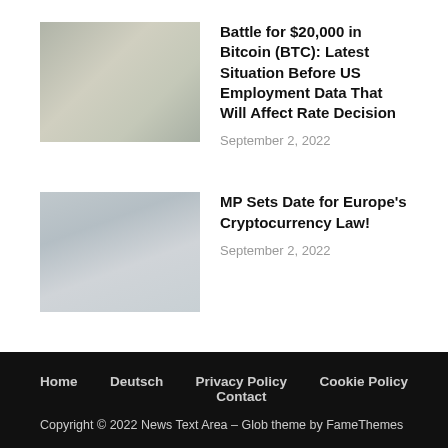[Figure (photo): Thumbnail image of currency/money, muted tones]
Battle for $20,000 in Bitcoin (BTC): Latest Situation Before US Employment Data That Will Affect Rate Decision
September 2, 2022
[Figure (photo): Thumbnail image of a building/European parliament, light blue and grey tones]
MP Sets Date for Europe's Cryptocurrency Law!
September 2, 2022
Home   Deutsch   Privacy Policy   Cookie Policy   Contact
Copyright © 2022 News Text Area – Glob theme by FameThemes